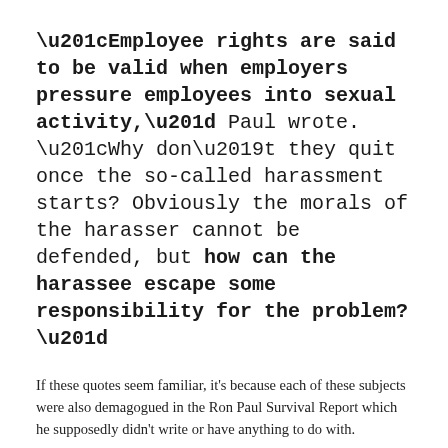“Employee rights are said to be valid when employers pressure employees into sexual activity,” Paul wrote. “Why don’t they quit once the so-called harassment starts? Obviously the morals of the harasser cannot be defended, but how can the harassee escape some responsibility for the problem?”
If these quotes seem familiar, it's because each of these subjects were also demagogued in the Ron Paul Survival Report which he supposedly didn't write or have anything to do with.
You can read more of the highlights, which include jabs at the Civil Rights Act and an ardent defense of insurance company's right to deny claims based on pre-existing conditions, here.